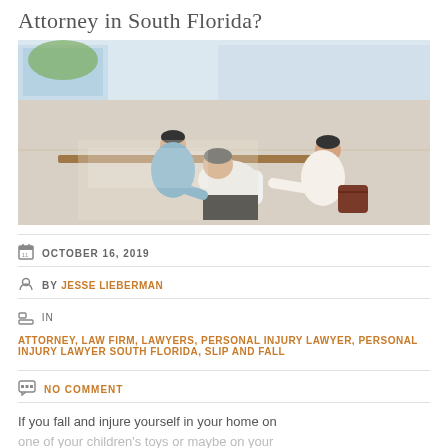Attorney in South Florida?
[Figure (photo): Overhead view of two people helping an elderly person who has fallen on a light-colored floor near a window.]
OCTOBER 16, 2019
BY JESSE LIEBERMAN
IN ATTORNEY, LAW FIRM, LAWYERS, PERSONAL INJURY LAWYER, PERSONAL INJURY LAWYER SOUTH FLORIDA, SLIP AND FALL
NO COMMENT
If you fall and injure yourself in your home on one of your children's toys or maybe on your